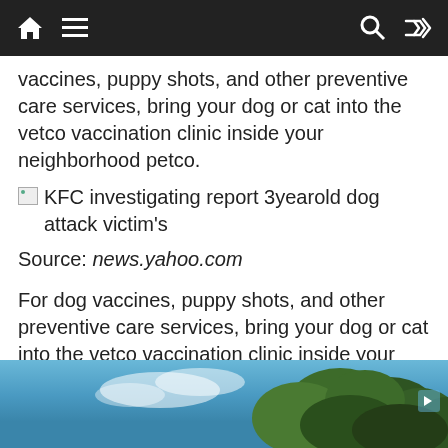Navigation bar with home, menu, search, and shuffle icons
vaccines, puppy shots, and other preventive care services, bring your dog or cat into the vetco vaccination clinic inside your neighborhood petco.
KFC investigating report 3yearold dog attack victim's
Source: news.yahoo.com
For dog vaccines, puppy shots, and other preventive care services, bring your dog or cat into the vetco vaccination clinic inside your neighborhood petco. You must be a resident of sacramento county.
[Figure (photo): Photo of trees against a blue sky, partially visible at bottom of page]